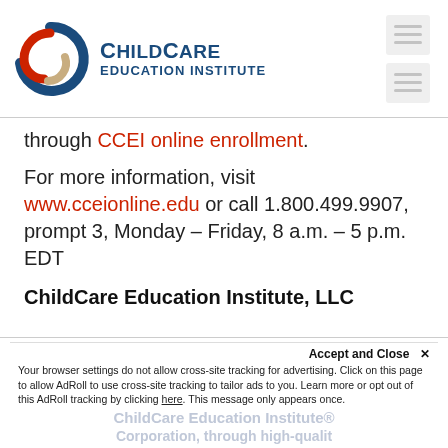[Figure (logo): ChildCare Education Institute logo with circular swirl graphic and bold text]
through CCEI online enrollment.
For more information, visit www.cceionline.edu or call 1.800.499.9907, prompt 3, Monday – Friday, 8 a.m. – 5 p.m. EDT
ChildCare Education Institute, LLC
ChildCare Education Institute®
Accept and Close ×
Your browser settings do not allow cross-site tracking for advertising. Click on this page to allow AdRoll to use cross-site tracking to tailor ads to you. Learn more or opt out of this AdRoll tracking by clicking here. This message only appears once.
Corporation, through high-qualit